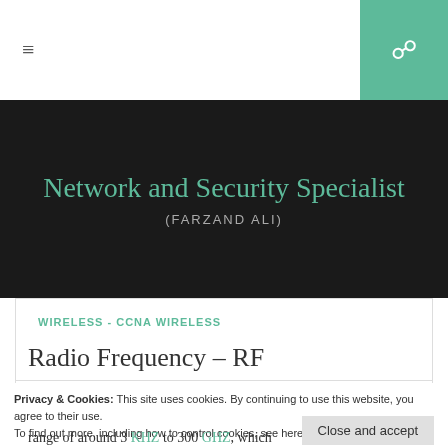≡
Network and Security Specialist
(FARZAND ALI)
WIRELESS - CCNA WIRELESS
Radio Frequency – RF
MARCH 8, 2014
Privacy & Cookies: This site uses cookies. By continuing to use this website, you agree to their use.
To find out more, including how to control cookies, see here: Cookie Policy
range of around 3 KHZ to 300 GHZ, which